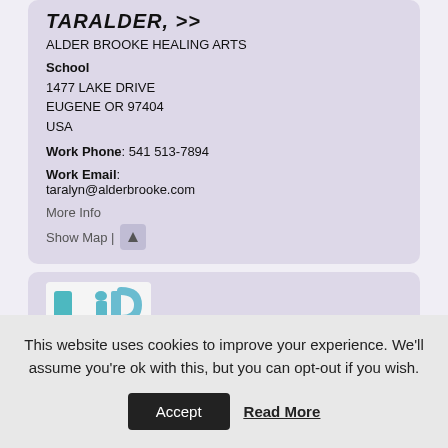TARALDER, >>
ALDER BROOKE HEALING ARTS
School
1477 LAKE DRIVE
EUGENE OR 97404
USA
Work Phone: 541 513-7894
Work Email: taralyn@alderbrooke.com
More Info
Show Map |
[Figure (logo): LIBBE logo with stylized teal/blue text on white background]
This website uses cookies to improve your experience. We'll assume you're ok with this, but you can opt-out if you wish.
Accept
Read More